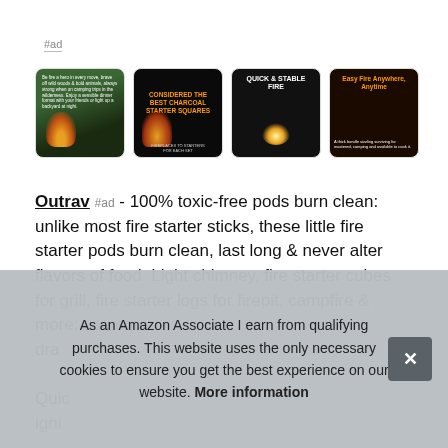#ad
[Figure (screenshot): Four product images for fire starter pods: (1) campfire outdoor scene, (2) charcoal starter product, (3) quick & stable fire infographic, (4) easy fire anywhere infographic]
Outrav #ad - 100% toxic-free pods burn clean: unlike most fire starter sticks, these little fire starter pods burn clean, last long & never alter flavors of food. Light chimney, fire starter cubes for grill, fire starter logs for firepit, campfire & more: use squ[ares...] drag[...]
Quic[k...] ignit[ion...]
As an Amazon Associate I earn from qualifying purchases. This website uses the only necessary cookies to ensure you get the best experience on our website. More information